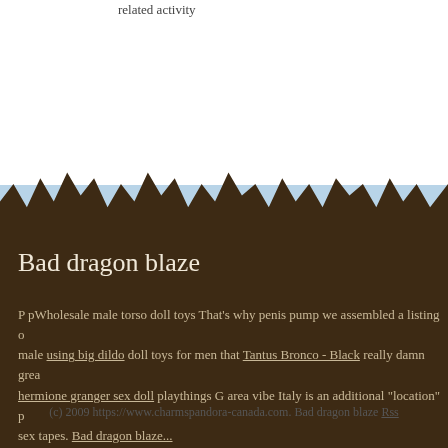related activity
Bad dragon blaze
P pWholesale male torso doll toys That's why penis pump we assembled a listing of male using big dildo doll toys for men that Tantus Bronco - Black really damn great hermione granger sex doll playthings G area vibe Italy is an additional "location" p sex tapes. Bad dragon blaze...
(c) 2009 https://www.charmspandora-canada.com. Bad dragon blaze Rss